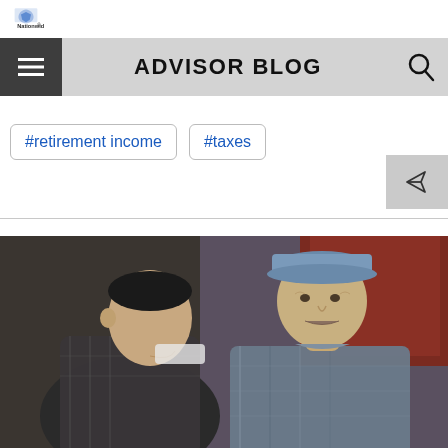[Figure (logo): Nationwide insurance logo with eagle icon and 'Nationwide' text]
ADVISOR BLOG
#retirement income
#taxes
[Figure (photo): Two older men in plaid/work shirts having a conversation outdoors, one wearing a baseball cap]